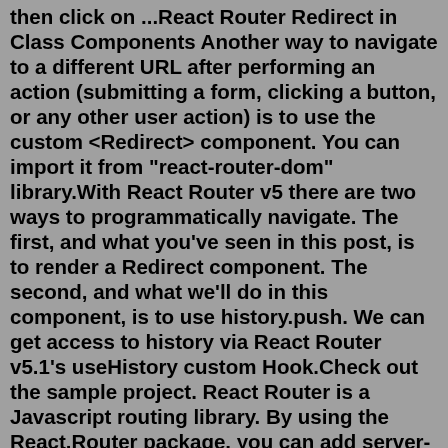then click on ...React Router Redirect in Class Components Another way to navigate to a different URL after performing an action (submitting a form, clicking a button, or any other user action) is to use the custom <Redirect> component. You can import it from "react-router-dom" library.With React Router v5 there are two ways to programmatically navigate. The first, and what you've seen in this post, is to render a Redirect component. The second, and what we'll do in this component, is to use history.push. We can get access to history via React Router v5.1's useHistory custom Hook.Check out the sample project. React Router is a Javascript routing library. By using the React.Router package, you can add server-side route resolution by deferring to React Router. Add the React.Router package to your solution: dotnet add package React.Router. Use a wildcard route in ASP.NET's route declarations: Apr 27, 2022 · Sometimes, we want to do a redirect to another route with React Router v6. In this article, we'll look at how to do a redirect to another route...